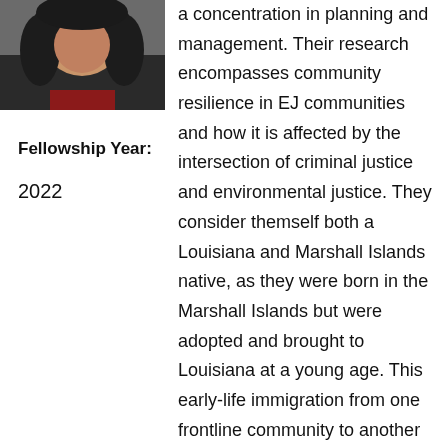[Figure (photo): Portrait photo of a person with dark curly hair, partially visible at top-left of page]
Fellowship Year:
2022
a concentration in planning and management. Their research encompasses community resilience in EJ communities and how it is affected by the intersection of criminal justice and environmental justice. They consider themself both a Louisiana and Marshall Islands native, as they were born in the Marshall Islands but were adopted and brought to Louisiana at a young age. This early-life immigration from one frontline community to another enriched their understanding of environmental injustices and inspired them toward advocacy for